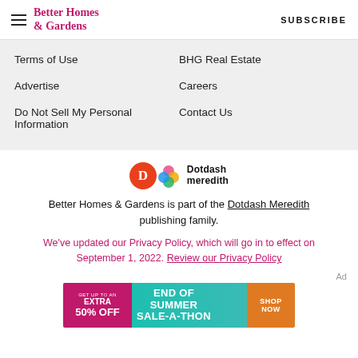Better Homes & Gardens | SUBSCRIBE
Terms of Use
BHG Real Estate
Advertise
Careers
Do Not Sell My Personal Information
Contact Us
[Figure (logo): Dotdash Meredith logo with orange D circle and colorful flower icon]
Better Homes & Gardens is part of the Dotdash Meredith publishing family.
We've updated our Privacy Policy, which will go in to effect on September 1, 2022. Review our Privacy Policy
[Figure (other): Advertisement banner: GET UP TO AN EXTRA 50% OFF | END OF SUMMER SALE-A-THON | SHOP NOW]